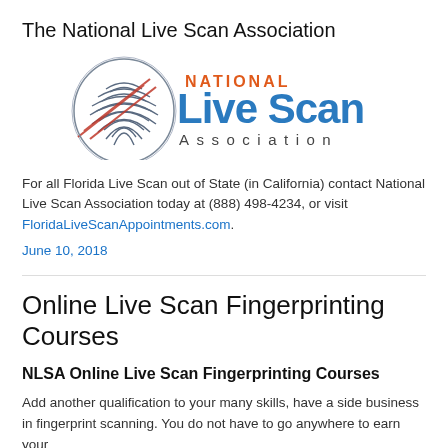The National Live Scan Association
[Figure (logo): National Live Scan Association logo with fingerprint graphic and stylized text]
For all Florida Live Scan out of State (in California) contact National Live Scan Association today at (888) 498-4234, or visit FloridaLiveScanAppointments.com.
June 10, 2018
Online Live Scan Fingerprinting Courses
NLSA Online Live Scan Fingerprinting Courses
Add another qualification to your many skills, have a side business in fingerprint scanning. You do not have to go anywhere to earn your